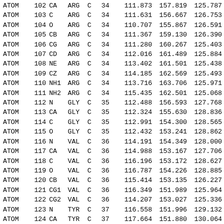| type | serial | name | res | chain | resSeq |  | x | y | z |
| --- | --- | --- | --- | --- | --- | --- | --- | --- | --- |
| ATOM | 102 | CA | ARG | C | 34 |  | 111.873 | 157.819 | 125.787 |
| ATOM | 103 | C | ARG | C | 34 |  | 111.631 | 156.667 | 126.753 |
| ATOM | 104 | O | ARG | C | 34 |  | 110.707 | 155.867 | 126.591 |
| ATOM | 105 | CB | ARG | C | 34 |  | 111.367 | 159.130 | 126.390 |
| ATOM | 106 | CG | ARG | C | 34 |  | 111.280 | 160.267 | 125.403 |
| ATOM | 107 | CD | ARG | C | 34 |  | 112.016 | 161.489 | 125.884 |
| ATOM | 108 | NE | ARG | C | 34 |  | 113.402 | 161.501 | 125.438 |
| ATOM | 109 | CZ | ARG | C | 34 |  | 114.185 | 162.569 | 125.493 |
| ATOM | 110 | NH1 | ARG | C | 34 |  | 113.716 | 163.706 | 125.971 |
| ATOM | 111 | NH2 | ARG | C | 34 |  | 115.435 | 162.501 | 125.068 |
| ATOM | 112 | N | GLY | C | 35 |  | 112.488 | 156.593 | 127.768 |
| ATOM | 113 | CA | GLY | C | 35 |  | 112.324 | 155.630 | 128.836 |
| ATOM | 114 | C | GLY | C | 35 |  | 112.991 | 154.300 | 128.565 |
| ATOM | 115 | O | GLY | C | 35 |  | 112.432 | 153.241 | 128.862 |
| ATOM | 116 | N | VAL | C | 36 |  | 114.191 | 154.349 | 128.000 |
| ATOM | 117 | CA | VAL | C | 36 |  | 114.988 | 153.167 | 127.706 |
| ATOM | 118 | C | VAL | C | 36 |  | 116.196 | 153.172 | 128.627 |
| ATOM | 119 | O | VAL | C | 36 |  | 116.787 | 154.226 | 128.885 |
| ATOM | 120 | CB | VAL | C | 36 |  | 115.414 | 153.135 | 126.227 |
| ATOM | 121 | CG1 | VAL | C | 36 |  | 116.349 | 151.989 | 125.964 |
| ATOM | 122 | CG2 | VAL | C | 36 |  | 114.207 | 153.027 | 125.336 |
| ATOM | 123 | N | TYR | C | 37 |  | 116.558 | 151.996 | 129.132 |
| ATOM | 124 | CA | TYR | C | 37 |  | 117.664 | 151.880 | 130.064 |
| ATOM | 125 | C | TYR | C | 37 |  | 118.467 | 150.624 | 129.770 |
| ATOM | 126 | O | TYR | C | 37 |  | 118.054 | 149.759 | 128.997 |
| ATOM | 127 | CB | TYR | C | 37 |  | 117.178 | 151.876 | 131.519 |
| ATOM | 128 | CG | TYR | C | 37 |  | 116.061 | 150.918 | 131.844 |
| ATOM | 129 | CD1 | TYR | C | 37 |  | 114.747 | 151.326 | 131.783 |
| ATOM | 130 | CD2 | TYR | C | 37 |  | 116.321 | 149.622 | 132.254 |
| ATOM | 131 | CE1 | TYR | C | 37 |  | 113.724 | 150.471 | 132.091 |